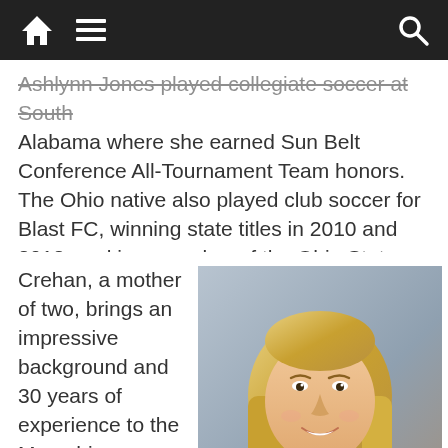Navigation bar with home, menu, and search icons
Ashlynn Jones played collegiate soccer at South Alabama where she earned Sun Belt Conference All-Tournament Team honors. The Ohio native also played club soccer for Blast FC, winning state titles in 2010 and 2012, and is a member of the Ohio State Olympic Development Program.
Crehan, a mother of two, brings an impressive background and 30 years of experience to the Memphis Americans. The Olive Branch
[Figure (photo): Headshot photo of a smiling blonde woman against a gray background]